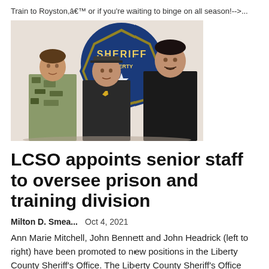Train to Royston,â€™ or if you're waiting to binge on all season!-->...
[Figure (photo): Three Liberty County Sheriff's Office staff members posing in front of a Liberty County Sheriff badge/logo on a white wall. Left: woman in camouflage uniform, center: man in dark deputy uniform with badge, right: man in black shirt.]
LCSO appoints senior staff to oversee prison and training division
Milton D. Smea...   Oct 4, 2021
Ann Marie Mitchell, John Bennett and John Headrick (left to right) have been promoted to new positions in the Liberty County Sheriff's Office. The Liberty County Sheriff's Office has promoted staff members to key!-->!-->...